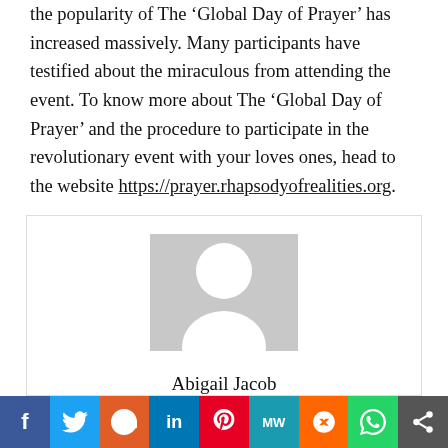the popularity of The 'Global Day of Prayer' has increased massively. Many participants have testified about the miraculous from attending the event. To know more about The 'Global Day of Prayer' and the procedure to participate in the revolutionary event with your loves ones, head to the website https://prayer.rhapsodyofrealities.org.
[Figure (illustration): Author card with generic grey user avatar placeholder and name 'Abigail Jacob']
Abigail Jacob
Social share bar: Facebook, Twitter, Reddit, LinkedIn, Pinterest, MW, Mix, WhatsApp, Share